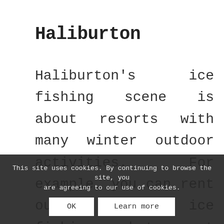Haliburton
Haliburton's ice fishing scene is about resorts with many winter outdoor activities. For example, you can rent out heated ice fishing huts at Buttermilk Falls Resort. The place is also famous for skating and snowshoeing.

Likewise, Poratea Country Inn Resort, located on Lake, is an excellent
This site uses cookies. By continuing to browse the site, you are agreeing to our use of cookies.
OK    Learn more